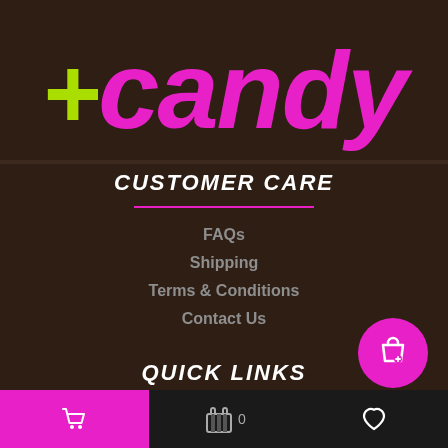[Figure (logo): +candy logo with green plus sign and pink candy text on dark brown background]
CUSTOMER CARE
FAQs
Shipping
Terms & Conditions
Contact Us
QUICK LINKS
Types
Cart | Basket 0 | Heart